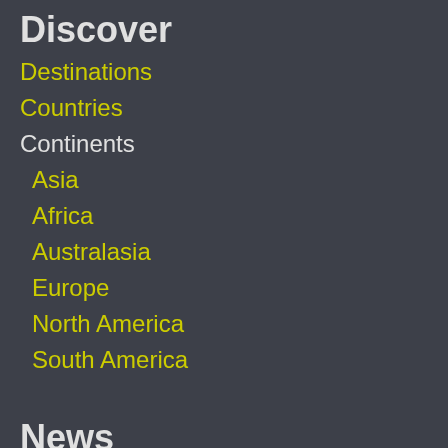Discover
Destinations
Countries
Continents
Asia
Africa
Australasia
Europe
North America
South America
News
Headlines
Coronavirus